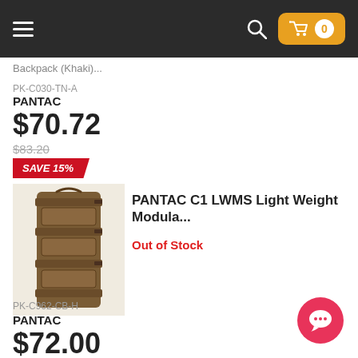Navigation bar with hamburger menu, search icon, and cart (0 items)
Backpack (Khaki)...
PK-C030-TN-A
PANTAC
$70.72
$83.20
SAVE 15%
[Figure (photo): PANTAC C1 LWMS Light Weight Modular system pouch in coyote brown/tan color, front view showing multiple mag pouches]
PANTAC C1 LWMS Light Weight Modula...
Out of Stock
PK-C962-CB-H
PANTAC
$72.00